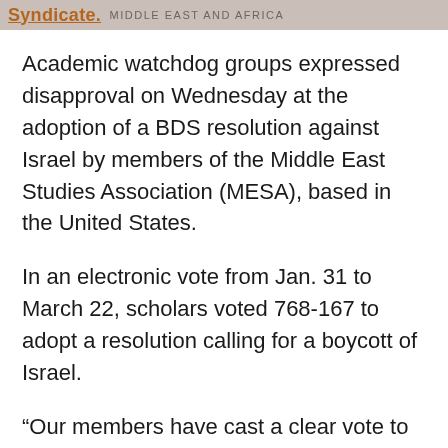Syndicate. MIDDLE EAST AND AFRICA
Academic watchdog groups expressed disapproval on Wednesday at the adoption of a BDS resolution against Israel by members of the Middle East Studies Association (MESA), based in the United States.
In an electronic vote from Jan. 31 to March 22, scholars voted 768-167 to adopt a resolution calling for a boycott of Israel.
“Our members have cast a clear vote to answer the call for solidarity from Palestinian scholars and students experiencing violations of their right to